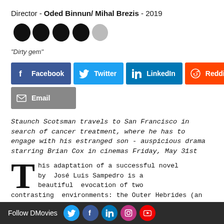Director - Oded Binnun/ Mihal Brezis - 2019
[Figure (illustration): Five star rating icons: four filled black stars and one grey/empty star indicating a rating of 4 out of 5]
"Dirty gem"
[Figure (infographic): Social share buttons: Facebook (blue), Twitter (light blue), LinkedIn (dark blue), Reddit (orange), Email (grey)]
Staunch Scotsman travels to San Francisco in search of cancer treatment, where he has to engage with his estranged son - auspicious drama starring Brian Cox in cinemas Friday, May 31st
This adaptation of a successful novel by José Luis Sampedro is a beautiful evocation of two contrasting environments: the Outer Hebrides (an island chain o... Scotland) and
Follow DMovies